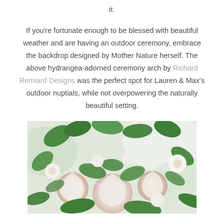it.
If you're fortunate enough to be blessed with beautiful weather and are having an outdoor ceremony, embrace the backdrop designed by Mother Nature herself. The above hydrangea-adorned ceremony arch by Richard Remiard Designs was the perfect spot for Lauren & Max's outdoor nuptials, while not overpowering the naturally beautiful setting.
[Figure (photo): Close-up photograph of white roses and green foliage floral arrangement, likely part of a wedding arch or bouquet, with a soft white/blurred background.]